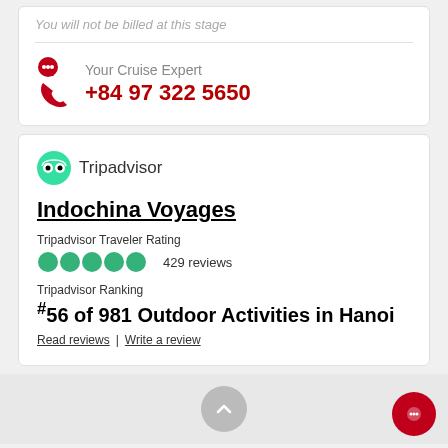You will not be billed at this stage
Your Cruise Expert
+84 97 322 5650
Indochina Voyages
Tripadvisor Traveler Rating
429 reviews
Tripadvisor Ranking
#56 of 981 Outdoor Activities in Hanoi
Read reviews | Write a review